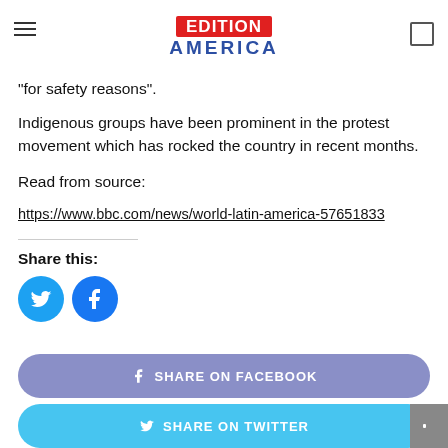EDITION AMERICA
"for safety reasons".
Indigenous groups have been prominent in the protest movement which has rocked the country in recent months.
Read from source:
https://www.bbc.com/news/world-latin-america-57651833
Share this:
[Figure (other): Twitter and Facebook circular social share icons]
SHARE ON FACEBOOK
SHARE ON TWITTER